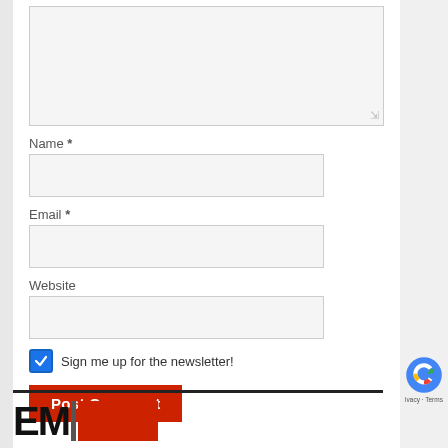[Figure (screenshot): Comment form textarea (empty, light gray background with resize handle)]
Name *
[Figure (screenshot): Name input field (empty, light gray background)]
Email *
[Figure (screenshot): Email input field (empty, light gray background)]
Website
[Figure (screenshot): Website input field (empty, light gray background)]
Sign me up for the newsletter!
Post Comment
[Figure (logo): EM logo with red block and reCAPTCHA badge]